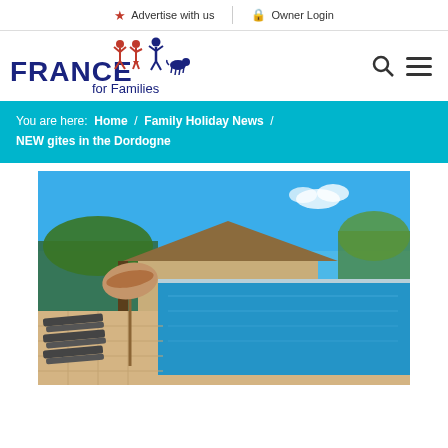Advertise with us   Owner Login
[Figure (logo): France for Families logo with stylized family figures in red and blue]
You are here:  Home  /  Family Holiday News  /  NEW gites in the Dordogne
[Figure (photo): Outdoor swimming pool with sun loungers and parasol, French countryside house in background under blue sky]